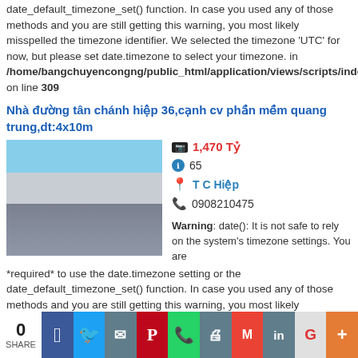date_default_timezone_set() function. In case you used any of those methods and you are still getting this warning, you most likely misspelled the timezone identifier. We selected the timezone 'UTC' for now, but please set date.timezone to select your timezone. in /home/bangchuyencongng/public_html/application/views/scripts/index/load on line 309
Nhà đường tân chánh hiệp 36,cạnh cv phần mềm quang trung,dt:4x10m
[Figure (photo): Photo of a house exterior showing sky, building facade, and window with curtains]
1,470 Tỷ
65
T C Hiệp
0908210475
Warning: date(): It is not safe to rely on the system's timezone settings. You are *required* to use the date.timezone setting or the date_default_timezone_set() function. In case you used any of those methods and you are still getting this warning, you most likely misspelled the timezone identifier. We selected the timezone 'UTC' for now, but please set date.timezone to select your timezone. in /home/bangchuyencongng/public_html/application/views/scripts/index/load on line 309
0 SHARE | Facebook | Twitter | Email | Pinterest | WhatsApp | Print | Gmail | LinkedIn | Google+ | More